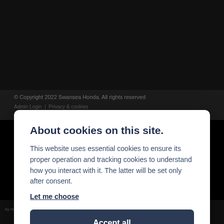© Copyright 2022 Swansea Honda. All rights reserved
Admin Login | Privacy & cookies
About cookies on this site.
This website uses essential cookies to ensure its proper operation and tracking cookies to understand how you interact with it. The latter will be set only after consent.
Let me choose
Accept all
Reject all
by reference to the vehicle model or amount you borrow. Different lenders may pay different commissions for